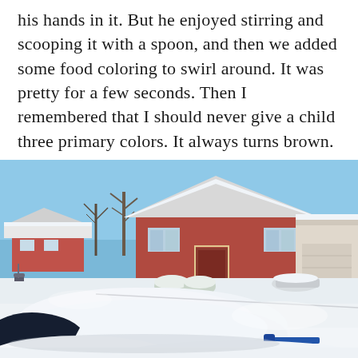his hands in it. But he enjoyed stirring and scooping it with a spoon, and then we added some food coloring to swirl around. It was pretty for a few seconds. Then I remembered that I should never give a child three primary colors. It always turns brown. Oh well.
[Figure (photo): A snow-covered suburban neighborhood scene. In the foreground, a blue car is almost completely buried under a thick blanket of snow. In the middle ground, a brick ranch-style house with a white-trimmed front door and attached garage is visible. The driveway and yard are covered in deep snow. To the left, more houses and bare trees are visible. The sky is bright blue, suggesting a clear winter day.]